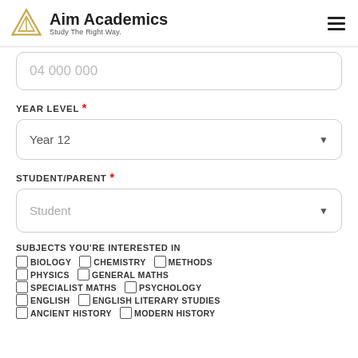Aim Academics — Study The Right Way.
04 000 000
YEAR LEVEL *
Year 12
STUDENT/PARENT *
Student
SUBJECTS YOU'RE INTERESTED IN
BIOLOGY  CHEMISTRY  METHODS
PHYSICS  GENERAL MATHS
SPECIALIST MATHS  PSYCHOLOGY
ENGLISH  ENGLISH LITERARY STUDIES
ANCIENT HISTORY  MODERN HISTORY